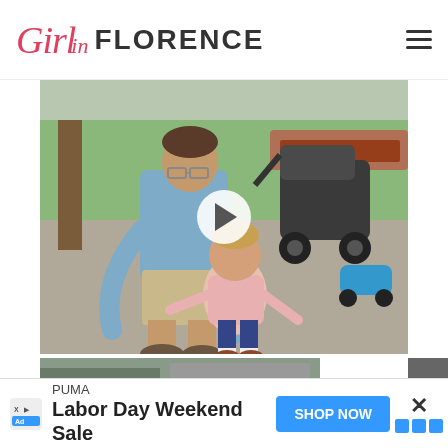Girl in Florence
[Figure (photo): A man in a blue shirt and khaki shorts bending down toward a toddler girl in a pink top who is learning to walk on a gravel path in a park. A stroller is visible in the background along with a blue toy car. A play button overlay is visible in the center of the image.]
[Figure (photo): Partial view of another photo strip below the main image, partially obscured.]
PUMA
Labor Day Weekend Sale
SHOP NOW